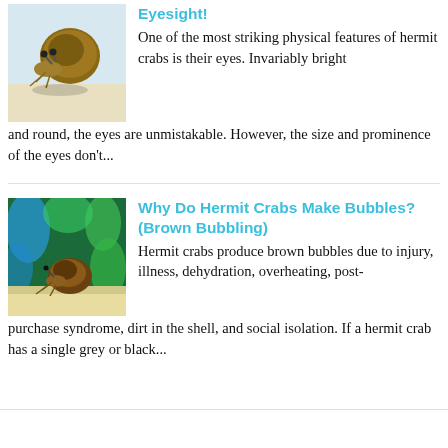[Figure (photo): Close-up photo of a hermit crab with a round shell, on a light sandy background]
Eyesight!
One of the most striking physical features of hermit crabs is their eyes. Invariably bright and round, the eyes are unmistakable. However, the size and prominence of the eyes don't...
[Figure (photo): Hermit crab in aquarium setting with green and blue background, sitting on sandy substrate]
Why Do Hermit Crabs Make Bubbles? (Brown Bubbling)
Hermit crabs produce brown bubbles due to injury, illness, dehydration, overheating, post-purchase syndrome, dirt in the shell, and social isolation. If a hermit crab has a single grey or black...